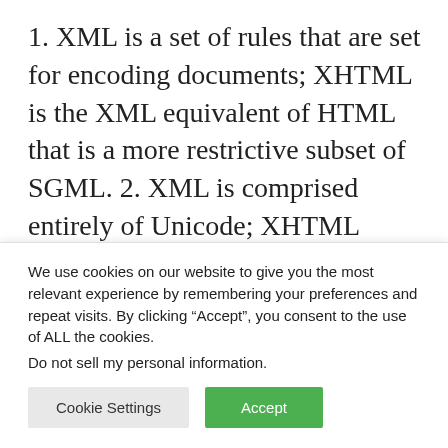1. XML is a set of rules that are set for encoding documents; XHTML is the XML equivalent of HTML that is a more restrictive subset of SGML. 2. XML is comprised entirely of Unicode; XHTML comes in three versions: XHTML 1.0 Strict, XHTML 1.0 Transitional and XHTML 1.0 Frameset.
1. XML   |   XHTML   •   0  (partial table header, cut off)
We use cookies on our website to give you the most relevant experience by remembering your preferences and repeat visits. By clicking "Accept", you consent to the use of ALL the cookies.
Do not sell my personal information.